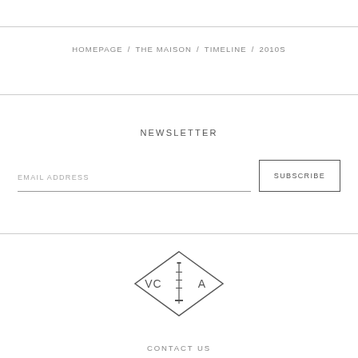HOMEPAGE / THE MAISON / TIMELINE / 2010S
NEWSLETTER
EMAIL ADDRESS
SUBSCRIBE
[Figure (logo): Van Cleef & Arpels diamond-shaped logo with VCA lettering and a column/tower icon in the center]
CONTACT US